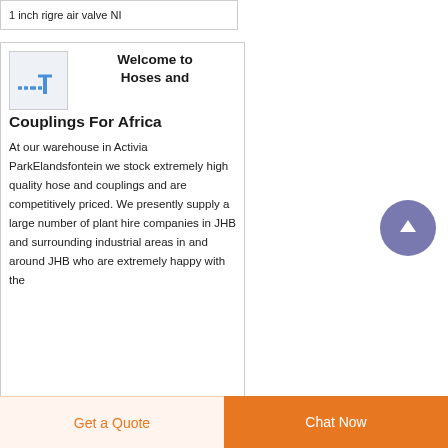1 inch rigre air valve NI
[Figure (logo): Small logo with blue dash-dot-line graphic on light background representing Hoses and Couplings For Africa]
Welcome to Hoses and Couplings For Africa
At our warehouse in Activia ParkElandsfontein we stock extremely high quality hose and couplings and are competitively priced. We presently supply a large number of plant hire companies in JHB and surrounding industrial areas in and around JHB who are extremely happy with the
[Figure (other): Purple circular scroll-to-top button with upward arrow icon]
Get a Quote
Chat Now